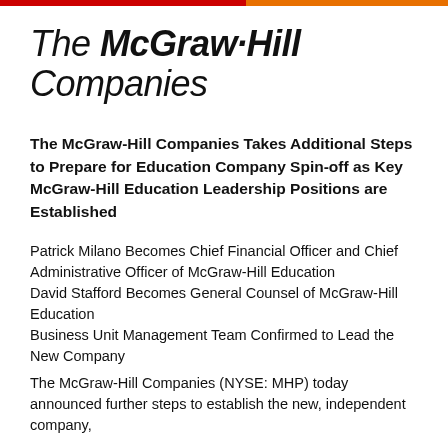[Figure (logo): The McGraw-Hill Companies logo in italic serif/sans style with red and orange top bar]
The McGraw-Hill Companies Takes Additional Steps to Prepare for Education Company Spin-off as Key McGraw-Hill Education Leadership Positions are Established
Patrick Milano Becomes Chief Financial Officer and Chief Administrative Officer of McGraw-Hill Education
David Stafford Becomes General Counsel of McGraw-Hill Education
Business Unit Management Team Confirmed to Lead the New Company
The McGraw-Hill Companies (NYSE: MHP) today announced further steps to establish the new, independent company,